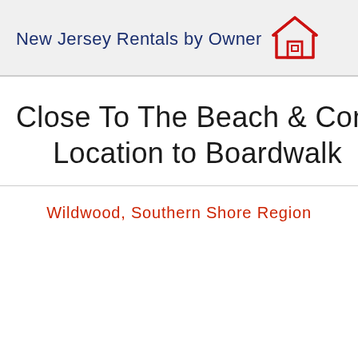New Jersey Rentals by Owner
Close To The Beach & Convention Center — Location to Boardwalk
Wildwood, Southern Shore Region